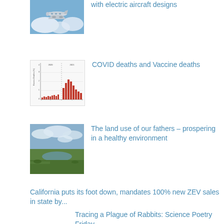[Figure (photo): Airplane in flight against a blue cloudy sky, viewed from below]
with electric aircraft designs
[Figure (bar-chart): COVID deaths and Vaccine deaths bar chart with red bars showing data over time]
COVID deaths and Vaccine deaths
[Figure (photo): Landscape photo of green wetlands/plains under a partly cloudy sky]
The land use of our fathers – prospering in a healthy environment
California puts its foot down, mandates 100% new ZEV sales in state by...
Tracing a Plague of Rabbits: Science Poetry Friday